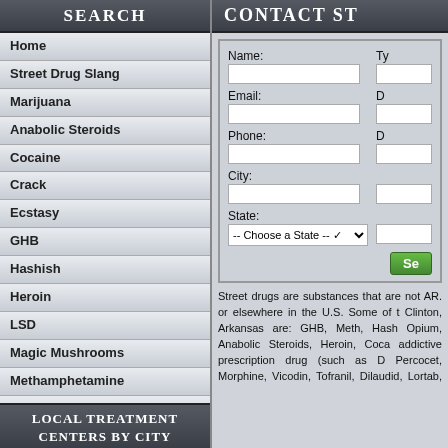Search
Home
Street Drug Slang
Marijuana
Anabolic Steroids
Cocaine
Crack
Ecstasy
GHB
Hashish
Heroin
LSD
Magic Mushrooms
Methamphetamine
Opium
PCP
Local Treatment Centers by City
Contact St
Street drugs are substances that are not AR. or elsewhere in the U.S. Some of t Clinton, Arkansas are: GHB, Meth, Hash Opium, Anabolic Steroids, Heroin, Coca addictive prescription drug (such as D Percocet, Morphine, Vicodin, Tofranil, Dilaudid, Lortab, Strattora, Benzodiac